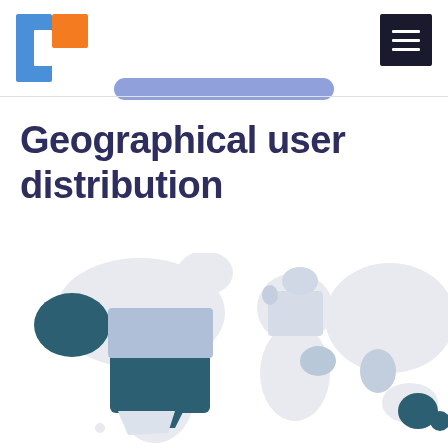[Figure (logo): Two-tone square logo with blue left portion and orange right portion, resembling letter C shape]
[Figure (other): Dark square hamburger/menu button with three horizontal white bars]
[Figure (other): Blue rounded pill/button shape partially visible at top]
Geographical user distribution
[Figure (map): World map showing geographical user distribution. USA and Alaska highlighted in dark teal/navy blue indicating high user concentration. Other regions shown in light gray. Parts of Europe and Asia visible on right side with some countries in light blue-gray.]